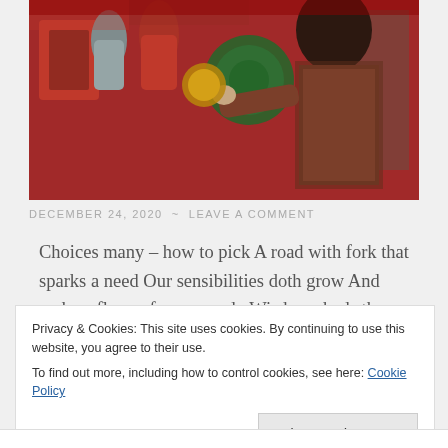[Figure (photo): A woman with curly hair browsing Christmas decorations in a holiday store, with stockings, ornaments, and festive items visible.]
DECEMBER 24, 2020 ~ LEAVE A COMMENT
Choices many – how to pick A road with fork that sparks a need Our sensibilities doth grow And make a flower from a seed   Wisdom sheds the flower to solve Truth will shed a wrong To delineate an absolute And ruminate too long  Who decides how long is long enough And who ...
Privacy & Cookies: This site uses cookies. By continuing to use this website, you agree to their use.
To find out more, including how to control cookies, see here: Cookie Policy
Close and accept